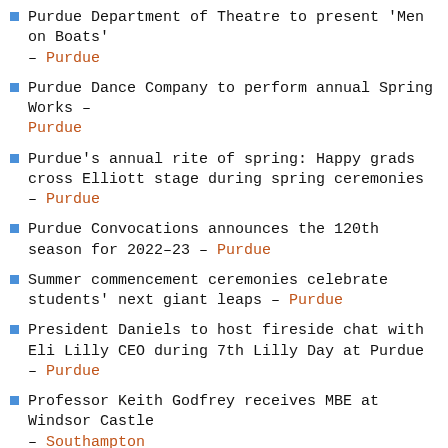Purdue Department of Theatre to present 'Men on Boats' – Purdue
Purdue Dance Company to perform annual Spring Works – Purdue
Purdue's annual rite of spring: Happy grads cross Elliott stage during spring ceremonies – Purdue
Purdue Convocations announces the 120th season for 2022–23 – Purdue
Summer commencement ceremonies celebrate students' next giant leaps – Purdue
President Daniels to host fireside chat with Eli Lilly CEO during 7th Lilly Day at Purdue – Purdue
Professor Keith Godfrey receives MBE at Windsor Castle – Southampton
Complete University Guide 2023 – Southampton
Erectile dysfunction drugs could help treat oesophageal cancer – Southampton